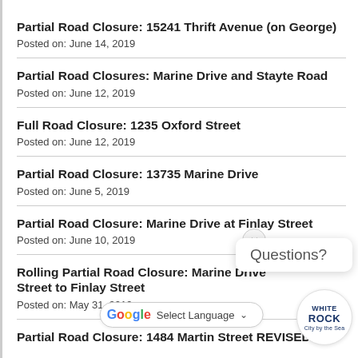Partial Road Closure: 15241 Thrift Avenue (on George)
Posted on: June 14, 2019
Partial Road Closures: Marine Drive and Stayte Road
Posted on: June 12, 2019
Full Road Closure: 1235 Oxford Street
Posted on: June 12, 2019
Partial Road Closure: 13735 Marine Drive
Posted on: June 5, 2019
Partial Road Closure: Marine Drive at Finlay Street
Posted on: June 10, 2019
Rolling Partial Road Closure: Marine Drive Street to Finlay Street
Posted on: May 31, 2019
Partial Road Closure: 1484 Martin Street REVISED